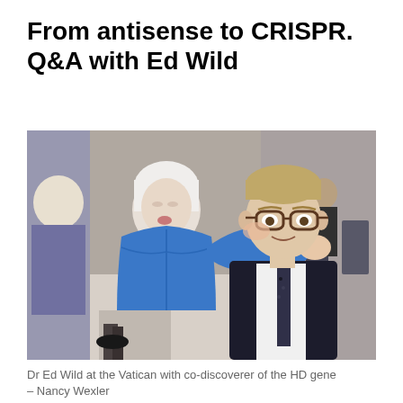From antisense to CRISPR. Q&A with Ed Wild
[Figure (photo): Dr Ed Wild being kissed on the cheek by an elderly woman in a bright blue jacket. They are embracing. The setting appears to be an indoor event or conference room with chairs and other attendees visible in the background.]
Dr Ed Wild at the Vatican with co-discoverer of the HD gene – Nancy Wexler